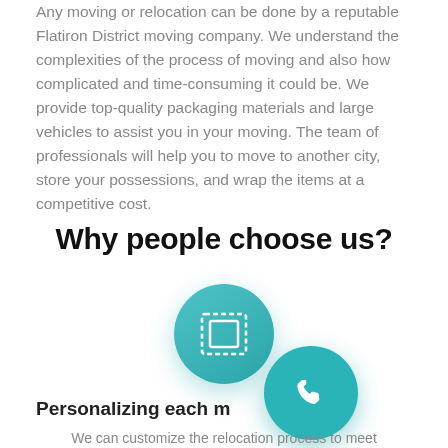Any moving or relocation can be done by a reputable Flatiron District moving company. We understand the complexities of the process of moving and also how complicated and time-consuming it could be. We provide top-quality packaging materials and large vehicles to assist you in your moving. The team of professionals will help you to move to another city, store your possessions, and wrap the items at a competitive cost.
Why people choose us?
[Figure (illustration): Teal circle with a white box/screen icon (representing personalization or framing)]
[Figure (illustration): Teal circle with a white phone/call icon (partially overlapping the first icon)]
Personalizing each m
We can customize the relocation process to meet